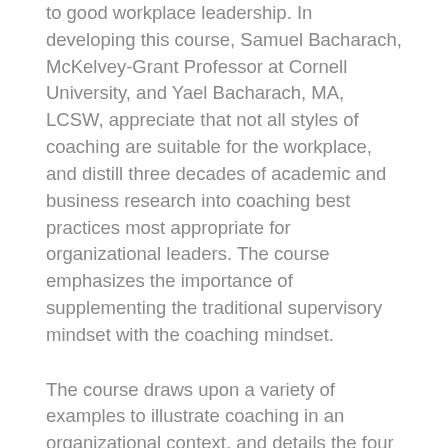to good workplace leadership. In developing this course, Samuel Bacharach, McKelvey-Grant Professor at Cornell University, and Yael Bacharach, MA, LCSW, appreciate that not all styles of coaching are suitable for the workplace, and distill three decades of academic and business research into coaching best practices most appropriate for organizational leaders. The course emphasizes the importance of supplementing the traditional supervisory mindset with the coaching mindset.
The course draws upon a variety of examples to illustrate coaching in an organizational context, and details the four functions of coaching in an easy-to-understand and practical context. The course takes a step-by-step approach through the five rules of the coaching dialogue and illuminates effective techniques for listening, asking questions, and providing feedback. The course provides a wealth of tools and processes, including instruction on how to recognize and use the language of coaching and balance the different functions